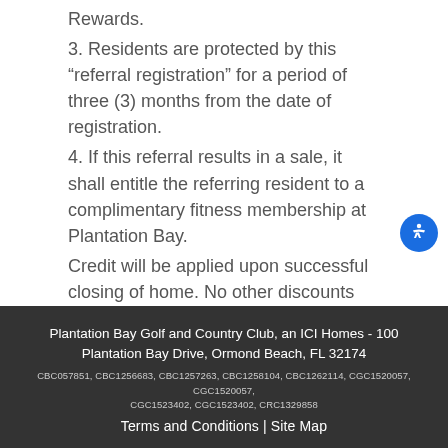Rewards.
3. Residents are protected by this “referral registration” for a period of three (3) months from the date of registration.
4. If this referral results in a sale, it shall entitle the referring resident to a complimentary fitness membership at Plantation Bay.
Credit will be applied upon successful closing of home. No other discounts apply.
Plantation Bay Golf and Country Club, an ICI Homes - 100 Plantation Bay Drive, Ormond Beach, FL 32174
CBC057851, CBC1256683, CBC1257263, CBC1258104, CBC1262114, CGC1520057, CGC1520057, CGC1523402, CGC1523402, CRC1329858
Terms and Conditions | Site Map